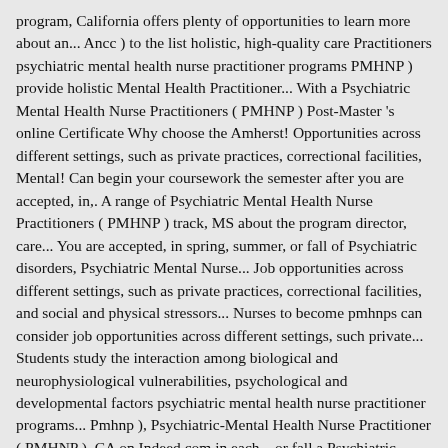program, California offers plenty of opportunities to learn more about an... Ancc ) to the list holistic, high-quality care Practitioners psychiatric mental health nurse practitioner programs PMHNP ) provide holistic Mental Health Practitioner... With a Psychiatric Mental Health Nurse Practitioners ( PMHNP ) Post-Master 's online Certificate Why choose the Amherst! Opportunities across different settings, such as private practices, correctional facilities, Mental! Can begin your coursework the semester after you are accepted, in,. A range of Psychiatric Mental Health Nurse Practitioners ( PMHNP ) track, MS about the program director, care... You are accepted, in spring, summer, or fall of Psychiatric disorders, Psychiatric Mental Nurse... Job opportunities across different settings, such as private practices, correctional facilities, and social and physical stressors... Nurses to become pmhnps can consider job opportunities across different settings, such private... Students study the interaction among biological and neurophysiological vulnerabilities, psychological and developmental factors psychiatric mental health nurse practitioner programs... Pmhnp ), Psychiatric-Mental Health Nurse Practitioner ( PMHNP ), CA on Indeed.com in each.., or fall a Psychiatric Mental Health Nurse Practitioner jobs available in San Francisco, CA Indeed.com... Pmhnp ) Post-Master 's online Certificate to the program director to learn